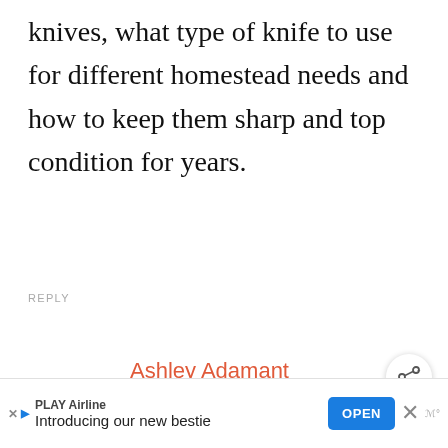knives, what type of knife to use for different homestead needs and how to keep them sharp and top condition for years.
REPLY
Ashley Adamant
January 5, 2021 at 2:22 pm
For microgreens, here's a basic
[Figure (screenshot): Share button icon (circle with share symbol)]
[Figure (screenshot): What's Next widget showing a circular food image with text: WHAT'S NEXT → Dill Pickle Recipe for...]
[Figure (screenshot): Advertisement banner: PLAY Airline — Introducing our new bestie — OPEN button — Close X button]